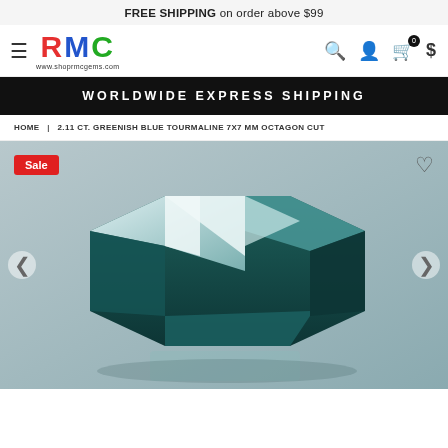FREE SHIPPING on order above $99
[Figure (logo): RMC logo with red R, blue M, green C letters and www.shoprmcgems.com below]
WORLDWIDE EXPRESS SHIPPING
HOME | 2.11 CT. GREENISH BLUE TOURMALINE 7X7 MM OCTAGON CUT
[Figure (photo): Close-up photo of a greenish blue tourmaline gemstone with octagon cut, showing facets and reflections on a grey background. Sale badge in top-left corner, heart icon in top-right, left and right navigation arrows.]